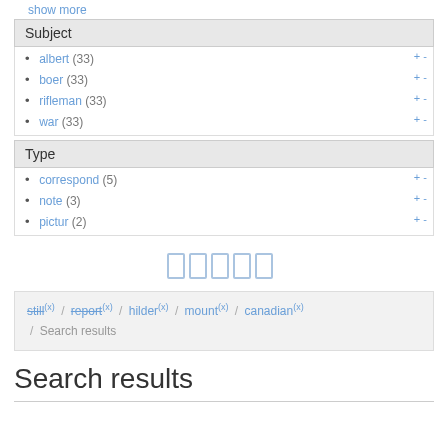show more
Subject
albert (33)
boer (33)
rifleman (33)
war (33)
Type
correspond (5)
note (3)
pictur (2)
[Figure (other): Five rectangular page/document icons rendered as outlines in light blue]
still(x) / report(x) / hilder(x) / mount(x) / canadian(x) / Search results
Search results